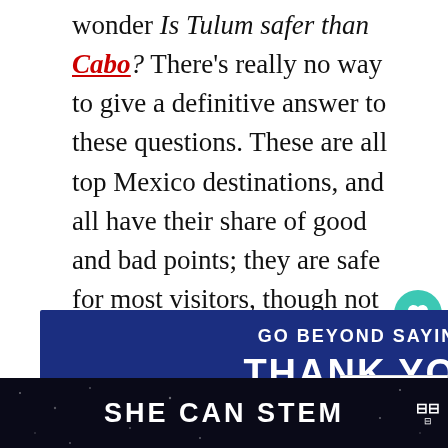wonder Is Tulum safer than Cabo? There's really no way to give a definitive answer to these questions. These are all top Mexico destinations, and all have their share of good and bad points; they are safe for most visitors, though not all.
[Figure (other): Social sharing sidebar with heart/like button showing count of 6 and a share icon button]
[Figure (photo): Advertisement banner: 'GO BEYOND SAYING THANK YOU' over a dark blue background with photo of two people, one in military uniform]
[Figure (other): What's Next sidebar showing '25 Safest' teaser]
[Figure (other): Bottom advertisement strip with text 'SHE CAN STEM' on dark background with logo]